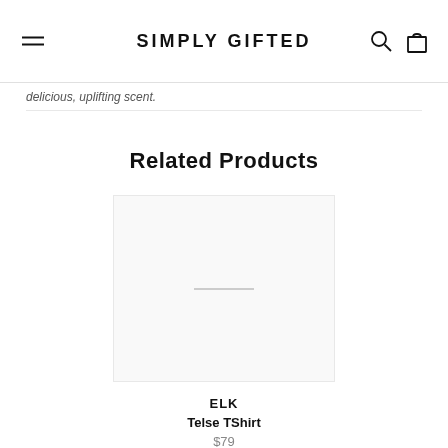SIMPLY GIFTED
delicious, uplifting scent.
Related Products
[Figure (photo): Product image placeholder for ELK Telse TShirt]
ELK
Telse TShirt
$79